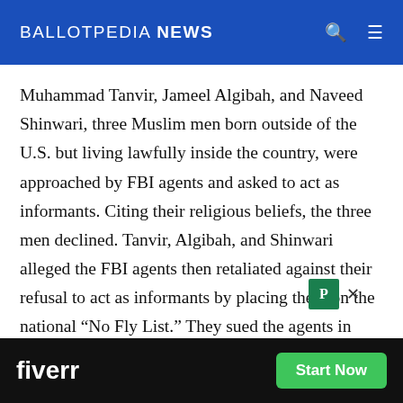BALLOTPEDIA NEWS
Muhammad Tanvir, Jameel Algibah, and Naveed Shinwari, three Muslim men born outside of the U.S. but living lawfully inside the country, were approached by FBI agents and asked to act as informants. Citing their religious beliefs, the three men declined. Tanvir, Algibah, and Shinwari alleged the FBI agents then retaliated against their refusal to act as informants by placing them on the national “No Fly List.” They sued the agents in their official and individual capacities in U.S. federal court under the First Amendment, th Ame d the